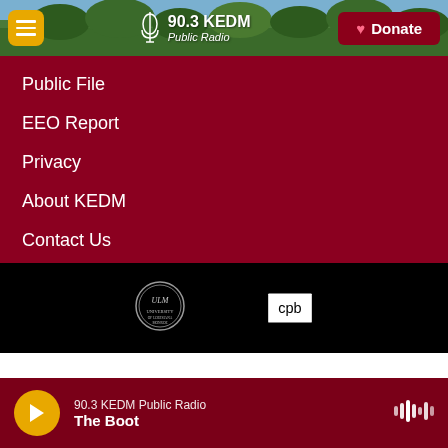[Figure (screenshot): 90.3 KEDM Public Radio website header with forest/tree background, yellow hamburger menu button on left, station logo in center-left, and dark red Donate button with heart icon on right]
Public File
EEO Report
Privacy
About KEDM
Contact Us
[Figure (logo): ULM (University of Louisiana Monroe) circular seal logo in grayscale]
[Figure (logo): CPB (Corporation for Public Broadcasting) logo in white on black background]
90.3 KEDM Public Radio — The Boot